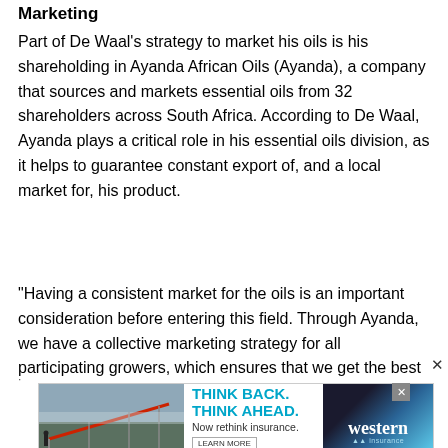Marketing
Part of De Waal’s strategy to market his oils is his shareholding in Ayanda African Oils (Ayanda), a company that sources and markets essential oils from 32 shareholders across South Africa. According to De Waal, Ayanda plays a critical role in his essential oils division, as it helps to guarantee constant export of, and a local market for, his product.
“Having a consistent market for the oils is an important consideration before entering this field. Through Ayanda, we have a collective marketing strategy for all participating growers, which ensures that we get the best
[Figure (screenshot): Advertisement banner showing irrigation equipment photo on the left, 'THINK BACK. THINK AHEAD. Now rethink insurance.' text in the middle, and Western insurance logo on the right with blue diagonal stripe design. An X close button appears in the top-right corner of the ad.]